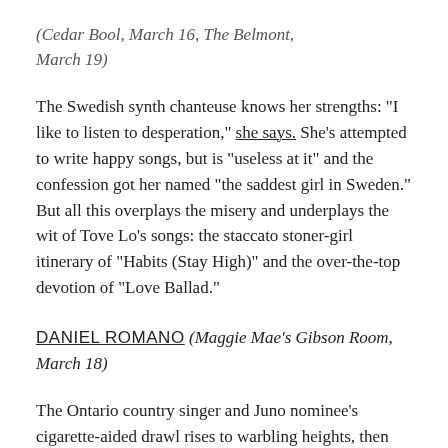TOVE LO (Cedar Bool, March 16, The Belmont, March 19)
The Swedish synth chanteuse knows her strengths: "I like to listen to desperation," she says. She's attempted to write happy songs, but is "useless at it" and the confession got her named "the saddest girl in Sweden." But all this overplays the misery and underplays the wit of Tove Lo's songs: the staccato stoner-girl itinerary of "Habits (Stay High)" and the over-the-top devotion of "Love Ballad."
DANIEL ROMANO (Maggie Mae's Gibson Room, March 18)
The Ontario country singer and Juno nominee's cigarette-aided drawl rises to warbling heights, then